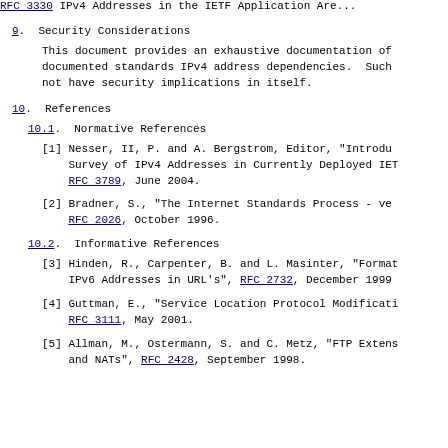RFC 3330    IPv4 Addresses in the IETF Application Are...
9.  Security Considerations
This document provides an exhaustive documentation of documented standards IPv4 address dependencies. Such not have security implications in itself.
10.  References
10.1.  Normative References
[1] Nesser, II, P. and A. Bergstrom, Editor, "Introdu Survey of IPv4 Addresses in Currently Deployed IET RFC 3789, June 2004.
[2] Bradner, S., "The Internet Standards Process - ve RFC 2026, October 1996.
10.2.  Informative References
[3] Hinden, R., Carpenter, B. and L. Masinter, "Format IPv6 Addresses in URL's", RFC 2732, December 1999
[4] Guttman, E., "Service Location Protocol Modificati RFC 3111, May 2001.
[5] Allman, M., Ostermann, S. and C. Metz, "FTP Extens and NATs", RFC 2428, September 1998.